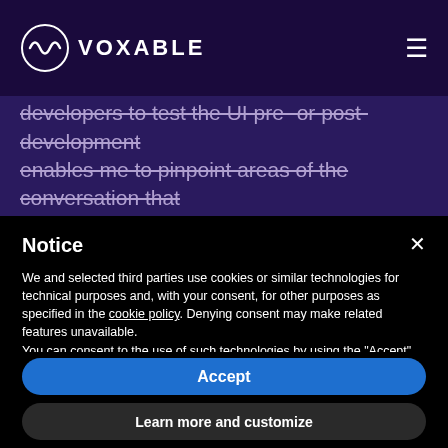VOXABLE
developers to test the UI pre- or post-development enables me to pinpoint areas of the conversation that
Notice
We and selected third parties use cookies or similar technologies for technical purposes and, with your consent, for other purposes as specified in the cookie policy. Denying consent may make related features unavailable.
You can consent to the use of such technologies by using the "Accept" button, by closing this notice, by scrolling this page, by interacting with any link or button outside of this notice or by continuing to browse otherwise.
Accept
Learn more and customize